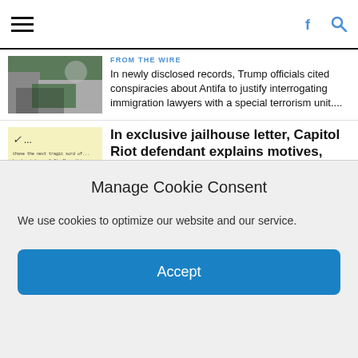Navigation bar with hamburger menu, Facebook icon, and search icon
FROM THE WIRE
In newly disclosed records, Trump officials cited conspiracies about Antifa to justify interrogating immigration lawyers with a special terrorism unit....
In exclusive jailhouse letter, Capitol Riot defendant explains motives, remains boastful
FROM THE WIRE
[caption id="attachment_31168" align="alignright" width="414"] An excerpt of a letter penned by Guy Reffitt, sent to ProPublica from jail.[/caption] The material...
The Two Hospitals Have Similar Infant Death Rates — Until You Look at
Manage Cookie Consent
We use cookies to optimize our website and our service.
Accept